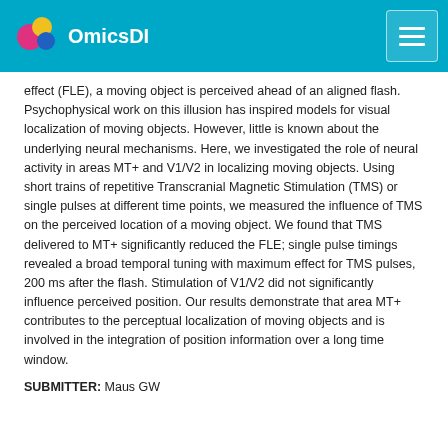OmicsDI
effect (FLE), a moving object is perceived ahead of an aligned flash. Psychophysical work on this illusion has inspired models for visual localization of moving objects. However, little is known about the underlying neural mechanisms. Here, we investigated the role of neural activity in areas MT+ and V1/V2 in localizing moving objects. Using short trains of repetitive Transcranial Magnetic Stimulation (TMS) or single pulses at different time points, we measured the influence of TMS on the perceived location of a moving object. We found that TMS delivered to MT+ significantly reduced the FLE; single pulse timings revealed a broad temporal tuning with maximum effect for TMS pulses, 200 ms after the flash. Stimulation of V1/V2 did not significantly influence perceived position. Our results demonstrate that area MT+ contributes to the perceptual localization of moving objects and is involved in the integration of position information over a long time window.
SUBMITTER: Maus GW